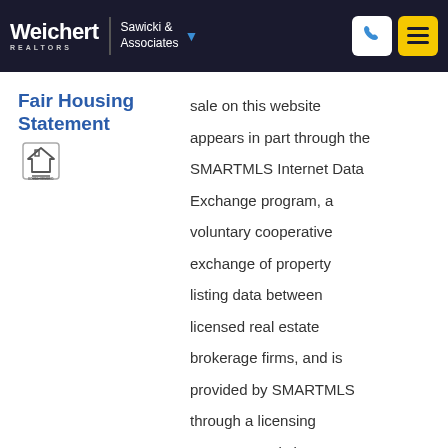Weichert REALTORS | Sawicki & Associates
Fair Housing Statement
sale on this website appears in part through the SMARTMLS Internet Data Exchange program, a voluntary cooperative exchange of property listing data between licensed real estate brokerage firms, and is provided by SMARTMLS through a licensing agreement. Listing information is from various brokers who participate in the SMARTMLS IDX